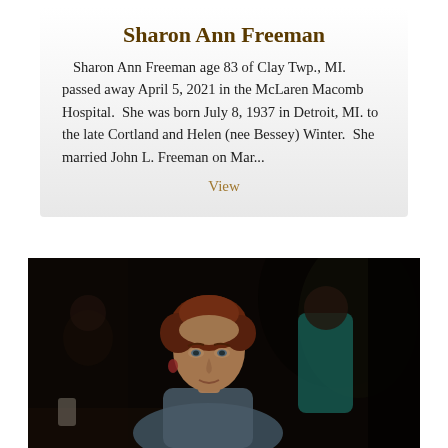Sharon Ann Freeman
Sharon Ann Freeman age 83 of Clay Twp., MI. passed away April 5, 2021 in the McLaren Macomb Hospital.  She was born July 8, 1937 in Detroit, MI. to the late Cortland and Helen (nee Bessey) Winter.  She married John L. Freeman on Mar...
View
[Figure (photo): Black and white/dark photograph of a woman with short reddish-brown hair seated at a table, looking at the camera, with other people visible in the dark background.]